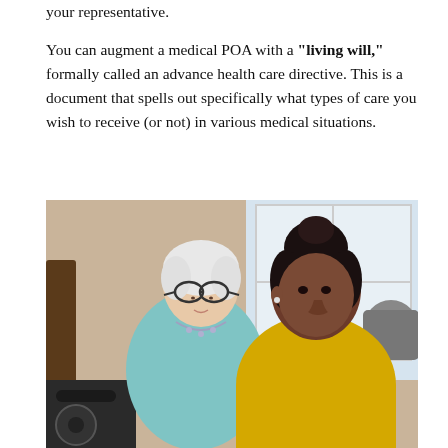This lets your representative. You can augment a medical POA with a "living will," formally called an advance health care directive. This is a document that spells out specifically what types of care you wish to receive (or not) in various medical situations.
[Figure (photo): An elderly white-haired woman wearing glasses, a light blue top and beaded necklace, seated next to a younger woman with dark hair in a bun wearing a yellow top, both looking downward at something, with a window and neutral background behind them.]